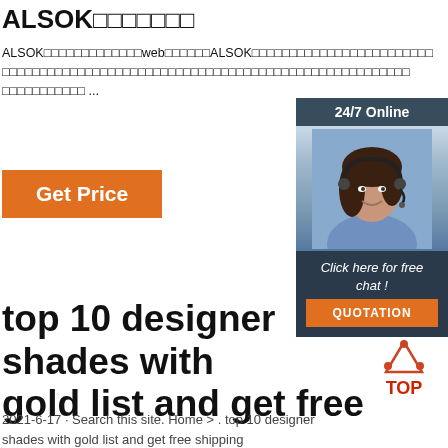ALSOK□□□□□□□
ALSOK□□□□□□□□□□□□□web□□□□□□ALSOK□□□□□□□□□□□□□□□□□□□□□□□□□□□□□□□□□□□□□□□□□□□□□□□□□□□□□□□□□□□□□□□□□□□□□□□□ ...
[Figure (other): Customer service representative chat widget with '24/7 Online' header, photo of woman with headset, 'Click here for free chat!' text, and QUOTATION button]
Get Price
top 10 designer shades with gold list and get free ...
[Figure (logo): TOP logo with orange triangle dots above red TOP text]
2021-6-17 · Search this site. Home > . top 10 designer shades with gold list and get free shipping